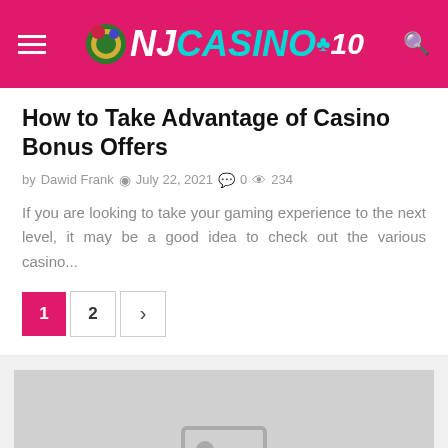NJ CASINO 10 — site header with navigation
How to Take Advantage of Casino Bonus Offers
by Dawid Frank  July 22, 2021  0  234
If you are looking to take your gaming experience to the next level, it may be a good idea to check out the various casino...
Pagination: 1  2  >
[Figure (photo): Placeholder image with image icon]